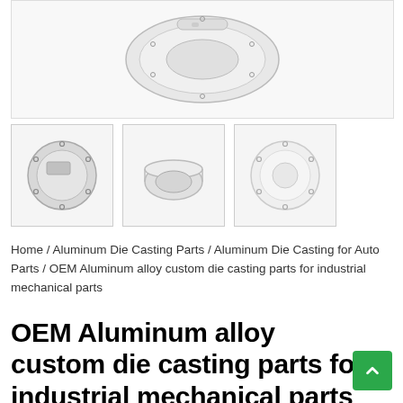[Figure (photo): Main product image showing an aluminum die cast circular hub cap / disc part from above, white background]
[Figure (photo): Thumbnail 1: Front view of circular aluminum die cast part with mounting holes around the edge]
[Figure (photo): Thumbnail 2: Side/angled view of the circular aluminum part showing its shallow dome shape]
[Figure (photo): Thumbnail 3: Front view of the circular aluminum die cast part, lighter exposure]
Home / Aluminum Die Casting Parts / Aluminum Die Casting for Auto Parts / OEM Aluminum alloy custom die casting parts for industrial mechanical parts
OEM Aluminum alloy custom die casting parts for industrial mechanical parts